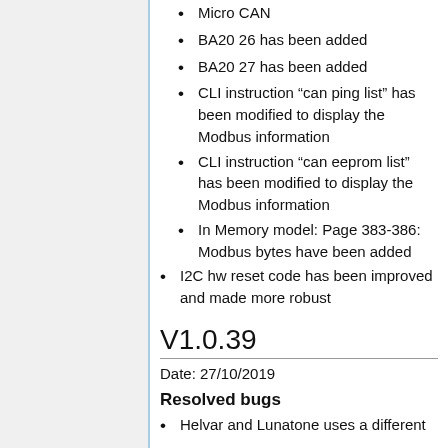Micro CAN
BA20 26 has been added
BA20 27 has been added
CLI instruction “can ping list” has been modified to display the Modbus information
CLI instruction “can eeprom list” has been modified to display the Modbus information
In Memory model: Page 383-386: Modbus bytes have been added
I2C hw reset code has been improved and made more robust
V1.0.39
Date: 27/10/2019
Resolved bugs
Helvar and Lunatone uses a different